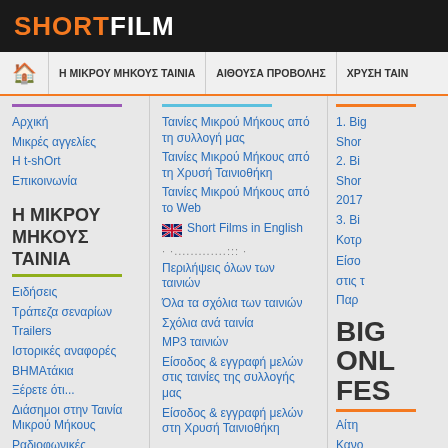SHORTFILM
Η ΜΙΚΡΟΥ ΜΗΚΟΥΣ ΤΑΙΝΙΑ | ΑΙΘΟΥΣΑ ΠΡΟΒΟΛΗΣ | ΧΡΥΣΗ ΤΑΙΝ
Αρχική
Μικρές αγγελίες
Η t-shOrt
Επικοινωνία
Η ΜΙΚΡΟΥ ΜΗΚΟΥΣ ΤΑΙΝΙΑ
Ειδήσεις
Τράπεζα σεναρίων
Trailers
Ιστορικές αναφορές
ΒΗΜΑτάκια
Ξέρετε ότι...
Διάσημοι στην Ταινία Μικρού Μήκους
Ραδιοφωνικές εκπομπές
Προτάσεις για το site
Ταινίες Μικρού Μήκους από τη συλλογή μας
Ταινίες Μικρού Μήκους από τη Χρυσή Ταινιοθήκη
Ταινίες Μικρού Μήκους από το Web
Short Films in English
Περιλήψεις όλων των ταινιών
Όλα τα σχόλια των ταινιών
Σχόλια ανά ταινία
MP3 ταινιών
Είσοδος & εγγραφή μελών στις ταινίες της συλλογής μας
Είσοδος & εγγραφή μελών στη Χρυσή Ταινιοθήκη
ΧΡΥΣΗ ΤΑΙΝΙΟΘΗΚΗ
1. Big Short
2. Big Short 2017
3. Big Κοτρ
Είσοδος στις τ
Παρ
BIG ONL FES
Αίτη
Κανο
Πληρ
Ιστο